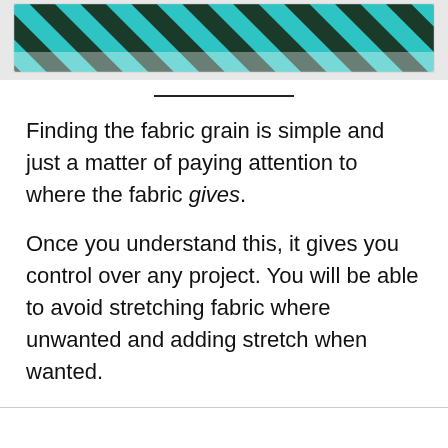[Figure (photo): Teal and black diagonal striped fabric close-up photo at top of page]
Finding the fabric grain is simple and just a matter of paying attention to where the fabric gives.
Once you understand this, it gives you control over any project. You will be able to avoid stretching fabric where unwanted and adding stretch when wanted.